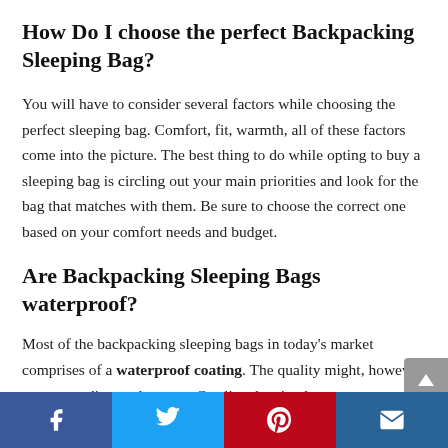How Do I choose the perfect Backpacking Sleeping Bag?
You will have to consider several factors while choosing the perfect sleeping bag. Comfort, fit, warmth, all of these factors come into the picture. The best thing to do while opting to buy a sleeping bag is circling out your main priorities and look for the bag that matches with them. Be sure to choose the correct one based on your comfort needs and budget.
Are Backpacking Sleeping Bags waterproof?
Most of the backpacking sleeping bags in today's market comprises of a waterproof coating. The quality might, however, vary according to the costs. Costlier sleeping bags use a more
Facebook  Twitter  Pinterest  Email